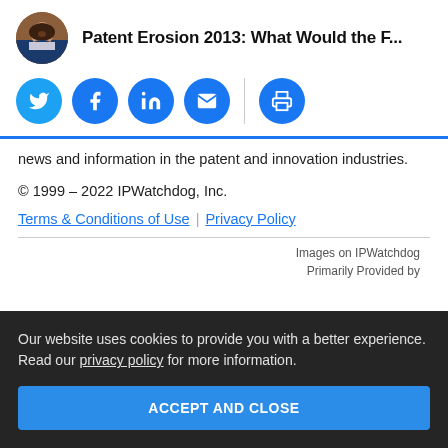Patent Erosion 2013: What Would the F...
[Figure (other): Row of social sharing buttons: Twitter, Facebook, LinkedIn, Email (blue circles), separator, Print (blue circle)]
news and information in the patent and innovation industries.
© 1999 – 2022 IPWatchdog, Inc.
Terms & Conditions of Use | Privacy Policy
Images on IPWatchdog
Primarily Provided by
Our website uses cookies to provide you with a better experience. Read our privacy policy for more information.
ACCEPT AND CLOSE